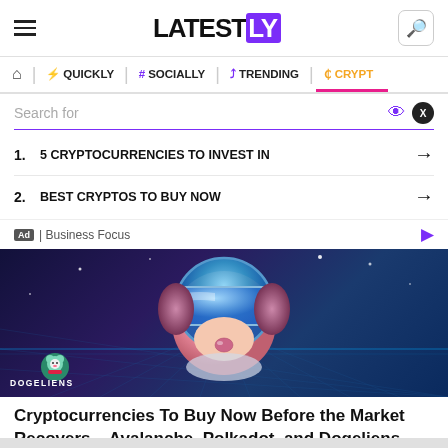LATESTLY
QUICKLY | # SOCIALLY | TRENDING | CRYPTO
Search for
1. 5 CRYPTOCURRENCIES TO INVEST IN
2. BEST CRYPTOS TO BUY NOW
Ad | Business Focus
[Figure (illustration): Cartoon dog character wearing VR goggles with Dogeliens branding, on a dark space/tech background]
Cryptocurrencies To Buy Now Before the Market Recovers – Avalanche, Polkadot, and Dogeliens